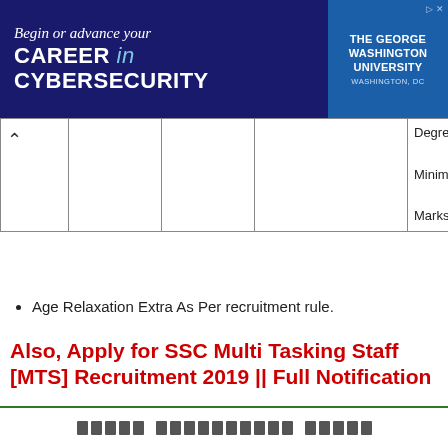[Figure (other): Advertisement banner for The George Washington University Cybersecurity program: 'Begin or advance your CAREER in CYBERSECURITY' with university logo on right side]
|  |  |  |  | Degree with Minimum 60% Marks with. |
Age Relaxation Extra As Per recruitment rule.
Also, Apply for SSC Multi Tasking Staff [MTS] Recruitment 2019 || Full Notification
Application Fee:
█████ ██████████ █████